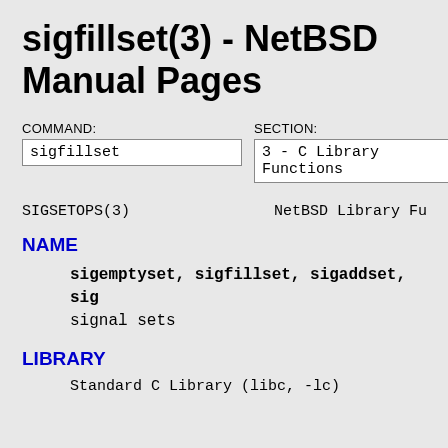sigfillset(3) - NetBSD Manual Pages
COMMAND: sigfillset  SECTION: 3 - C Library Functions
SIGSETOPS(3)                    NetBSD Library Funct
NAME
sigemptyset, sigfillset, sigaddset, sig... signal sets
LIBRARY
Standard C Library (libc, -lc)